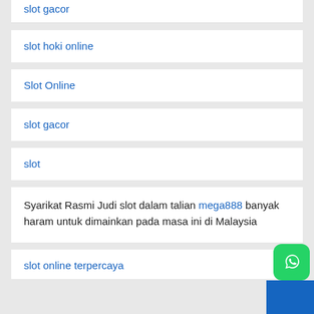slot gacor
slot hoki online
Slot Online
slot gacor
slot
Syarikat Rasmi Judi slot dalam talian mega888 banyak haram untuk dimainkan pada masa ini di Malaysia
slot online terpercaya